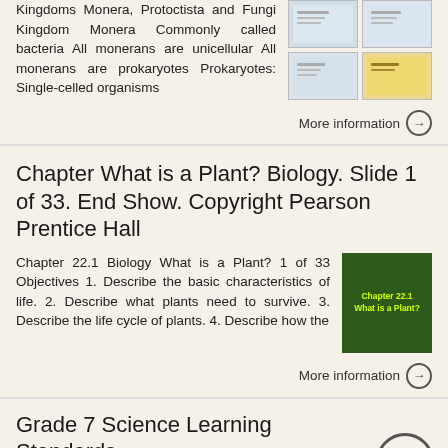Kingdoms Monera, Protoctista and Fungi Kingdom Monera Commonly called bacteria All monerans are unicellular All monerans are prokaryotes Prokaryotes: Single-celled organisms
[Figure (screenshot): Four thumbnail images arranged in a 2x2 grid showing slides from a presentation about kingdoms]
More information →
Chapter What is a Plant? Biology. Slide 1 of 33. End Show. Copyright Pearson Prentice Hall
Chapter 22.1 Biology What is a Plant? 1 of 33 Objectives 1. Describe the basic characteristics of life. 2. Describe what plants need to survive. 3. Describe the life cycle of plants. 4. Describe how the
[Figure (screenshot): Green plant thumbnail with yellow text reading Chapter 22.1 What is a Plant?]
More information →
Grade 7 Science Learning Standards
Grade 7 Science Currriicullum Overviiew